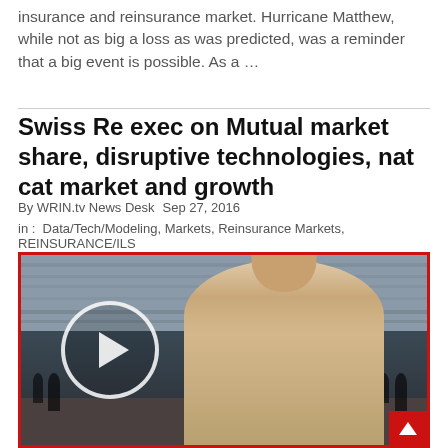insurance and reinsurance market. Hurricane Matthew, while not as big a loss as was predicted, was a reminder that a big event is possible. As a …
Swiss Re exec on Mutual market share, disruptive technologies, nat cat market and growth
By WRIN.tv News Desk   Sep 27, 2016
in :  Data/Tech/Modeling, Markets, Reinsurance Markets, REINSURANCE/ILS
[Figure (photo): Video thumbnail showing a man in a beige blazer being interviewed in a conference center lobby, with a circular play button overlay on the left side. Red border around the image. A scroll-to-top arrow button appears in the bottom right corner.]